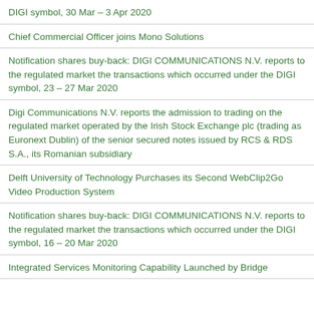DIGI symbol, 30 Mar – 3 Apr 2020
Chief Commercial Officer joins Mono Solutions
Notification shares buy-back: DIGI COMMUNICATIONS N.V. reports to the regulated market the transactions which occurred under the DIGI symbol, 23 – 27 Mar 2020
Digi Communications N.V. reports the admission to trading on the regulated market operated by the Irish Stock Exchange plc (trading as Euronext Dublin) of the senior secured notes issued by RCS & RDS S.A., its Romanian subsidiary
Delft University of Technology Purchases its Second WebClip2Go Video Production System
Notification shares buy-back: DIGI COMMUNICATIONS N.V. reports to the regulated market the transactions which occurred under the DIGI symbol, 16 – 20 Mar 2020
Integrated Services Monitoring Capability Launched by Bridge